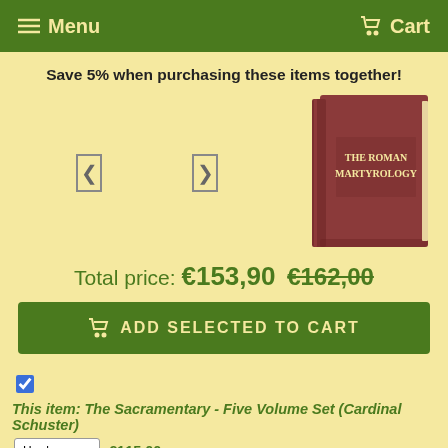Menu   Cart
Save 5% when purchasing these items together!
[Figure (photo): A hardcover book titled 'The Roman Martyrology' with a dark red/maroon cover]
Total price: €153,90  €162,00
ADD SELECTED TO CART
This item: The Sacramentary - Five Volume Set (Cardinal Schuster)  Hardcover  €115,00
The Breviary Explained  New  €17,00